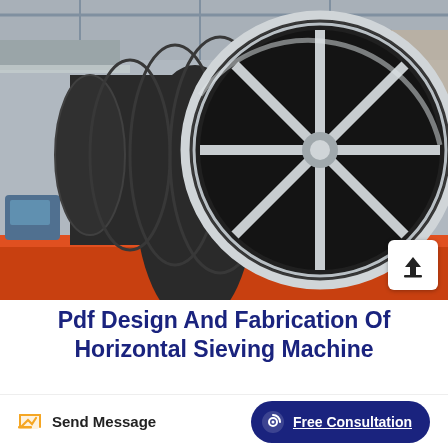[Figure (photo): Large horizontal cylindrical industrial drum/sieving machine with a spoke wheel at the open end, lying on an orange metal platform inside a factory/warehouse. The drum is dark grey/black. The spoke wheel is metallic silver/grey with 8 spokes and a central hub. Factory structure visible in background.]
Pdf Design And Fabrication Of Horizontal Sieving Machine
Send Message
Free Consultation